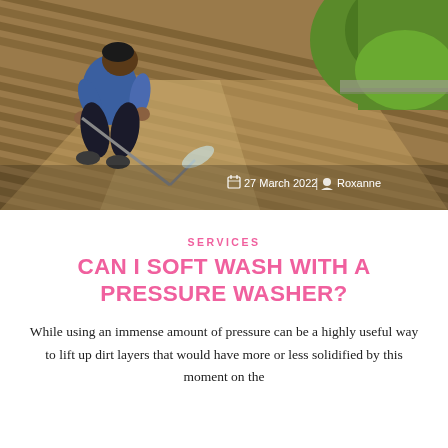[Figure (photo): Aerial view of a man using a pressure washer to clean wooden decking boards. The man is wearing a blue shirt and dark trousers. Green grass is visible in the upper right corner. The image has a date and author overlay at the bottom.]
27 March 2022 | Roxanne
SERVICES
CAN I SOFT WASH WITH A PRESSURE WASHER?
While using an immense amount of pressure can be a highly useful way to lift up dirt layers that would have more or less solidified by this moment on the